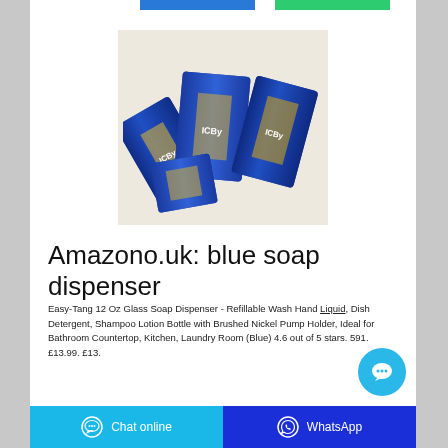[Figure (photo): Product photo showing multiple blue foil packets of 'ICby' branded soap/detergent product scattered on a light background]
Amazono.uk: blue soap dispenser
Easy-Tang 12 Oz Glass Soap Dispenser - Refillable Wash Hand Liquid, Dish Detergent, Shampoo Lotion Bottle with Brushed Nickel Pump Holder, Ideal for Bathroom Countertop, Kitchen, Laundry Room (Blue) 4.6 out of 5 stars. 591. £13.99. £13.
Chat online | WhatsApp